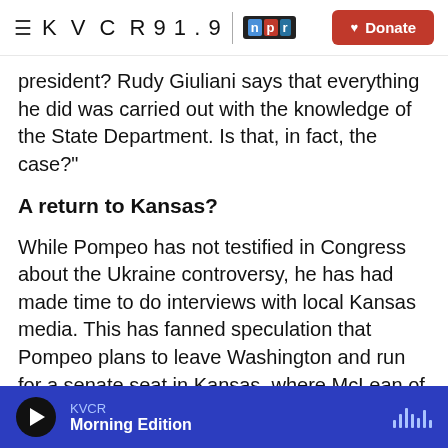KVCR 91.9 npr | Donate
president? Rudy Giuliani says that everything he did was carried out with the knowledge of the State Department. Is that, in fact, the case?"
A return to Kansas?
While Pompeo has not testified in Congress about the Ukraine controversy, he has had made time to do interviews with local Kansas media. This has fanned speculation that Pompeo plans to leave Washington and run for a senate seat in Kansas, where McLean of the Kansas News Service says impeachment, Ukraine and quid pro quo sound a
KVCR Morning Edition